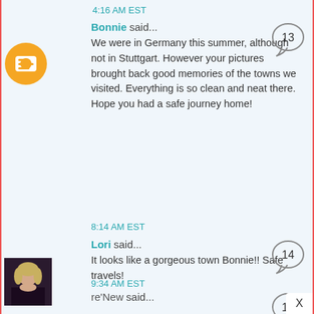4:16 AM EST
Bonnie said...
We were in Germany this summer, although not in Stuttgart. However your pictures brought back good memories of the towns we visited. Everything is so clean and neat there. Hope you had a safe journey home!
8:14 AM EST
Lori said...
It looks like a gorgeous town Bonnie!! Safe travels!
9:34 AM EST
re'New said...
I nominated you for a "stylish blogger" award!